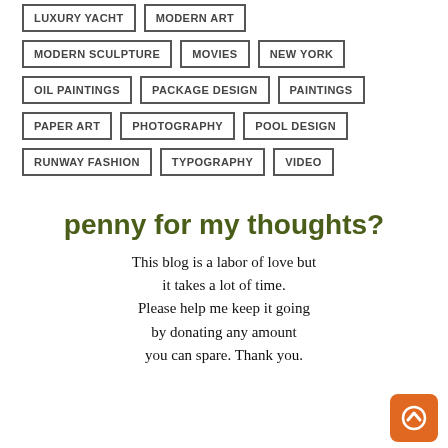LUXURY YACHT
MODERN ART
MODERN SCULPTURE
MOVIES
NEW YORK
OIL PAINTINGS
PACKAGE DESIGN
PAINTINGS
PAPER ART
PHOTOGRAPHY
POOL DESIGN
RUNWAY FASHION
TYPOGRAPHY
VIDEO
penny for my thoughts?
This blog is a labor of love but it takes a lot of time. Please help me keep it going by donating any amount you can spare. Thank you.